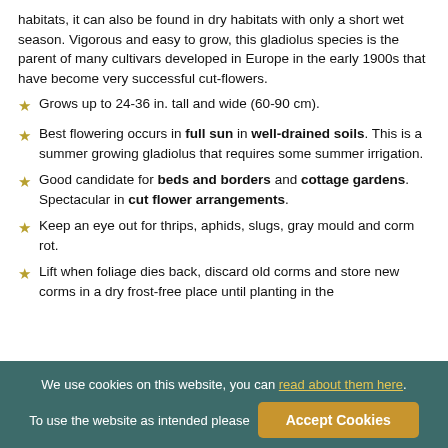habitats, it can also be found in dry habitats with only a short wet season. Vigorous and easy to grow, this gladiolus species is the parent of many cultivars developed in Europe in the early 1900s that have become very successful cut-flowers.
Grows up to 24-36 in. tall and wide (60-90 cm).
Best flowering occurs in full sun in well-drained soils. This is a summer growing gladiolus that requires some summer irrigation.
Good candidate for beds and borders and cottage gardens. Spectacular in cut flower arrangements.
Keep an eye out for thrips, aphids, slugs, gray mould and corm rot.
Lift when foliage dies back, discard old corms and store new corms in a dry frost-free place until planting in the
We use cookies on this website, you can read about them here. To use the website as intended please Accept Cookies.